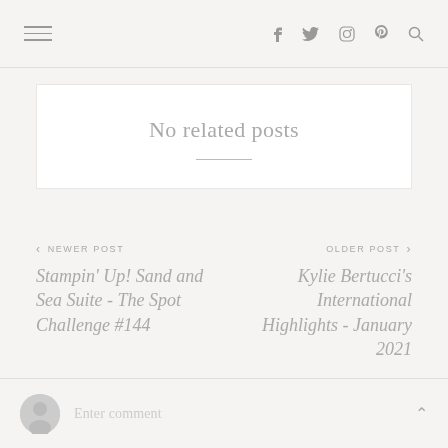Navigation header with hamburger menu and social icons (f, twitter, instagram, pinterest, search)
No related posts
< NEWER POST
Stampin' Up! Sand and Sea Suite - The Spot Challenge #144
OLDER POST >
Kylie Bertucci's International Highlights - January 2021
Enter comment